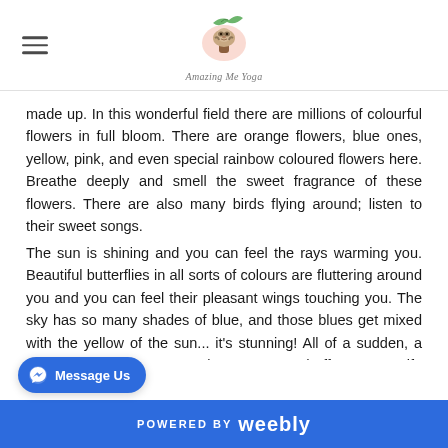Amazing Me Yoga
made up. In this wonderful field there are millions of colourful flowers in full bloom. There are orange flowers, blue ones, yellow, pink, and even special rainbow coloured flowers here. Breathe deeply and smell the sweet fragrance of these flowers. There are also many birds flying around; listen to their sweet songs.
The sun is shining and you can feel the rays warming you. Beautiful butterflies in all sorts of colours are fluttering around you and you can feel their pleasant wings touching you. The sky has so many shades of blue, and those blues get mixed with the yellow of the sun... it's stunning! All of a sudden, a fairy appears. She comes close to you ... a gift. It's a spiritual gift; not a gift
POWERED BY weebly